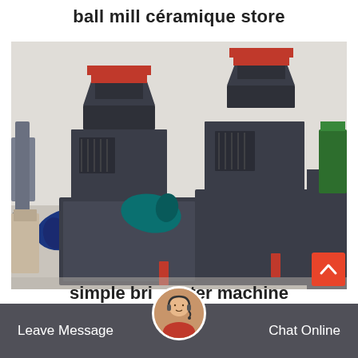ball mill céramique store
[Figure (photo): Industrial briquette press machines in a factory warehouse. Multiple large dark grey/charcoal colored machines with red-topped hoppers, blue electric motors, and box-shaped bases are arranged in a factory floor setting.]
simple briquetter machine
Leave Message
Chat Online